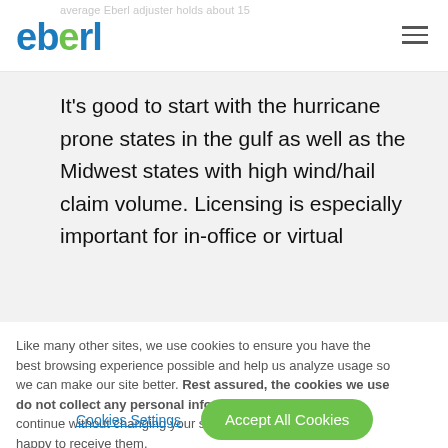eberl
average Eberl adjuster holds about 15
It's good to start with the hurricane prone states in the gulf as well as the Midwest states with high wind/hail claim volume. Licensing is especially important for in-office or virtual
Like many other sites, we use cookies to ensure you have the best browsing experience possible and help us analyze usage so we can make our site better. Rest assured, the cookies we use do not collect any personal information from you. If you continue without changing your settings, we'll assume you are happy to receive them.
Cookies Settings
Accept All Cookies